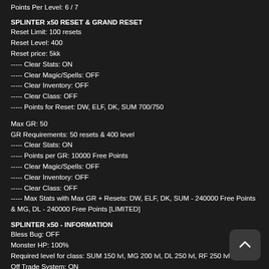Points Per Level: 6 / 7
SPLINTER x50 RESET & GRAND RESET
Reset Limit: 100 resets
Reset Level: 400
Reset price: 5kk
----- Clear Stats: ON
----- Clear Magic/Spells: OFF
----- Clear Inventory: OFF
----- Clear Class: OFF
----- Points for Reset: DW, ELF, DK, SUM 700/750
Max GR: 50
GR Requirements: 50 resets & 400 level
----- Clear Stats: ON
----- Points per GR: 10000 Free Points
----- Clear Magic/Spells: OFF
----- Clear Inventory: OFF
----- Clear Class: OFF
----- Max Stats with Max GR + Resets: DW, ELF, DK, SUM - 240000 Free Points & MG, DL - 240000 Free Points [LIMITED]
SPLINTER x50 - INFORMATION
Bless Bug: OFF
Monster HP: 100%
Required level for class: SUM 150 lvl, MG 200 lvl, DL 250 lvl, RF 250 lvl
Off Trade System: ON
Off Level System: ON
Marry System: ON
Auto Reconnect System: ON
Gens System: ON
Goblin System: ON (earn +1 on Elveland Event for ech Gold Monster)
Master Skill Tree: ON (max 1000 lvl)
Guild Create Level: 300
Bonus Event: ON (bonus EXP in specific time 2 times per day)